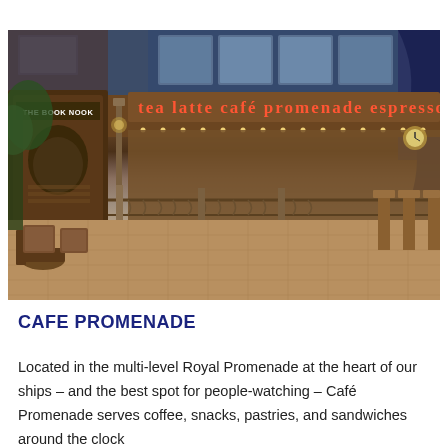[Figure (photo): Interior photo of Cafe Promenade on a Royal Caribbean cruise ship showing 'The Book Nook' kiosk on the left, a cafe storefront with illuminated signage reading 'tea latte café promenade espresso', ornate wrought-iron railings, wicker chairs and tables, and a tiled promenade floor with warm amber and brown lighting.]
CAFE PROMENADE
Located in the multi-level Royal Promenade at the heart of our ships – and the best spot for people-watching – Café Promenade serves coffee, snacks, pastries, and sandwiches around the clock